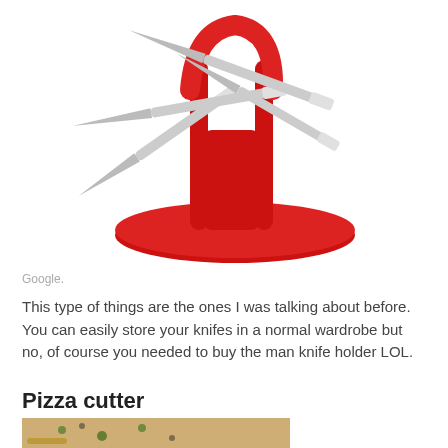[Figure (photo): A red fork-shaped knife holder/block holding several silver knives, with a red oval base, on a white background.]
Google.
This type of things are the ones I was talking about before. You can easily store your knifes in a normal wardrobe but no, of course you needed to buy the man knife holder LOL.
Pizza cutter
[Figure (photo): A photo of a pizza with toppings including green peppers and olives, being cut with a pizza cutter, on a wooden board against a light marble surface.]